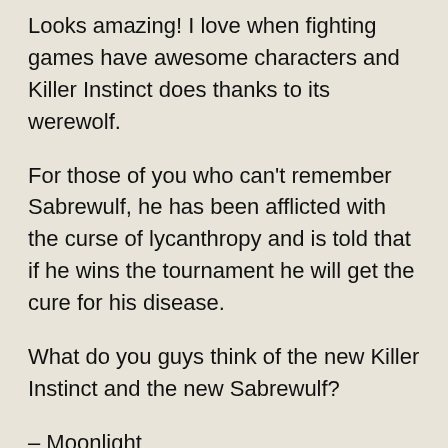Looks amazing! I love when fighting games have awesome characters and Killer Instinct does thanks to its werewolf.
For those of you who can't remember Sabrewulf, he has been afflicted with the curse of lycanthropy and is told that if he wins the tournament he will get the cure for his disease.
What do you guys think of the new Killer Instinct and the new Sabrewulf?
– Moonlight
About the Author